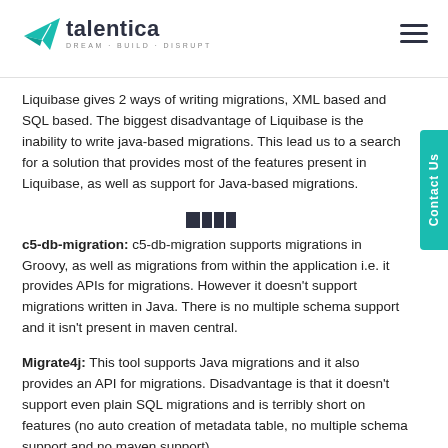talentica DREAM · BUILD · DISRUPT
Liquibase gives 2 ways of writing migrations, XML based and SQL based. The biggest disadvantage of Liquibase is the inability to write java-based migrations. This lead us to a search for a solution that provides most of the features present in Liquibase, as well as support for Java-based migrations.
[Figure (other): Small icon with dark squares pattern]
c5-db-migration: c5-db-migration supports migrations in Groovy, as well as migrations from within the application i.e. it provides APIs for migrations. However it doesn't support migrations written in Java. There is no multiple schema support and it isn't present in maven central.
Migrate4j: This tool supports Java migrations and it also provides an API for migrations. Disadvantage is that it doesn't support even plain SQL migrations and is terribly short on features (no auto creation of metadata table, no multiple schema support and no maven support).